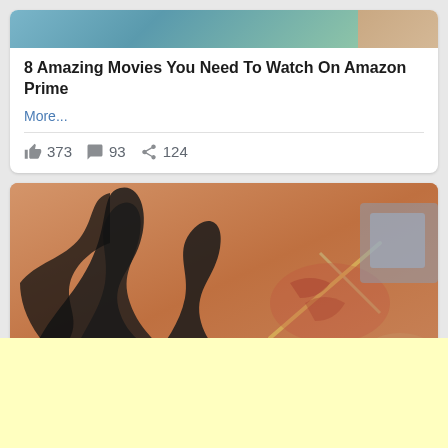[Figure (photo): Top portion of a social media card showing a partial image strip with greenish/teal tones on the left and warm tones on the right]
8 Amazing Movies You Need To Watch On Amazon Prime
More...
👍 373 💬 93 ➤ 124
[Figure (photo): Close-up photo of a tattooed shoulder/arm showing a tribal tattoo design in black, with what appears to be a medical procedure being performed with a pointed instrument on irritated/wounded skin]
[Figure (other): Light yellow advertisement banner at the bottom of the page]